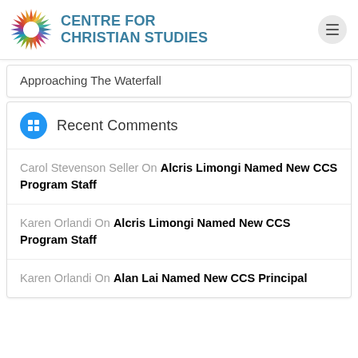CENTRE FOR CHRISTIAN STUDIES
Approaching The Waterfall
Recent Comments
Carol Stevenson Seller On Alcris Limongi Named New CCS Program Staff
Karen Orlandi On Alcris Limongi Named New CCS Program Staff
Karen Orlandi On Alan Lai Named New CCS Principal